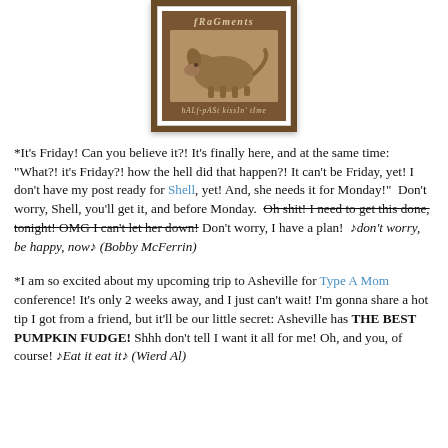[Figure (illustration): A postage-stamp style logo with brown border and serrated edges. Shows the word 'fRaGments' at the top in italic text, an image of an animal (possibly a dog or pig) in sepia/cream tones in the center, and the text 'hALf-pASt kissIn' tIme' at the bottom. Brown background with cream/tan animal image.]
*It's Friday! Can you believe it?! It's finally here, and at the same time: "What?! it's Friday?! how the hell did that happen?! It can't be Friday, yet! I don't have my post ready for Shell, yet! And, she needs it for Monday!"  Don't worry, Shell, you'll get it, and before Monday.  Oh shit! I need to get this done, tonight! OMG I can't let her down! Don't worry, I have a plan!  ♪don't worry, be happy, now♪ (Bobby McFerrin)
*I am so excited about my upcoming trip to Asheville for Type A Mom conference! It's only 2 weeks away, and I just can't wait! I'm gonna share a hot tip I got from a friend, but it'll be our little secret: Asheville has THE BEST PUMPKIN FUDGE! Shhh don't tell I want it all for me! Oh, and you, of course! ♪Eat it eat it♪ (Wierd Al)